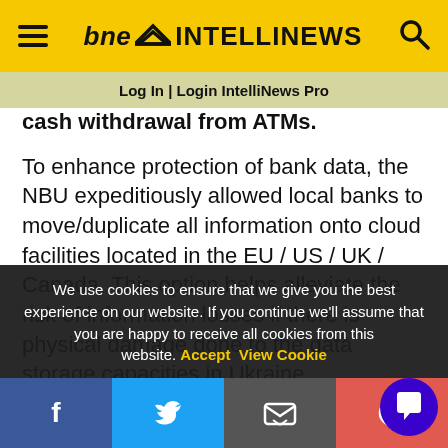bne INTELLINEWS
Log In | Login IntelliNews Pro
cash withdrawal from ATMs.
To enhance protection of bank data, the NBU expeditiously allowed local banks to move/duplicate all information onto cloud facilities located in the EU / US / UK / Canada. This option helps alleviate the risk of information losses if there is physical damage done to the data storage capacities in Ukraine.
The banking sector has stayed fully liquid in both
We use cookies to ensure that we give you the best experience on our website. If you continue we'll assume that you are happy to receive all cookies from this website. Accept  View Cookie